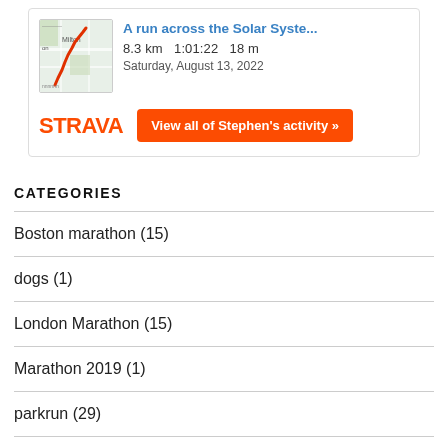[Figure (screenshot): Strava activity widget showing a run titled 'A run across the Solar Syste...' with map thumbnail, stats (8.3 km, 1:01:22, 18 m), date Saturday August 13 2022, Strava logo, and a button 'View all of Stephen's activity »']
CATEGORIES
Boston marathon (15)
dogs (1)
London Marathon (15)
Marathon 2019 (1)
parkrun (29)